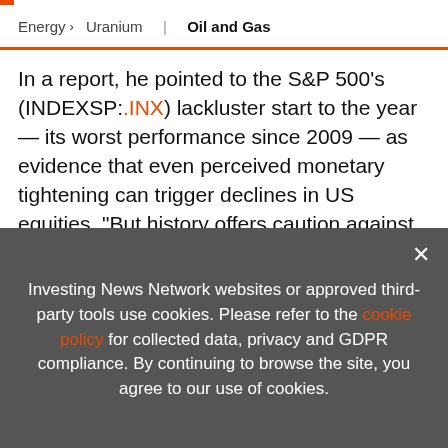Energy > Uranium | Oil and Gas
In a report, he pointed to the S&P 500's (INDEXSP:.INX) lackluster start to the year — its worst performance since 2009 — as evidence that even perceived monetary tightening can trigger declines in US equities. “But history offers caution against assuming a rate hike would necessarily
[Figure (infographic): Advertisement banner: EXCLUSIVE 2022 OIL & GAS OUTLOOK REPORT. TRENDS. FORECASTS. TOP STOCKS. with orange arrow button and orange vertical bar on right, book cover image on left.]
Oil which continues to sell for more than US$ 100
Investing News Network websites or approved third-party tools use cookies. Please refer to the cookie policy for collected data, privacy and GDPR compliance. By continuing to browse the site, you agree to our use of cookies.